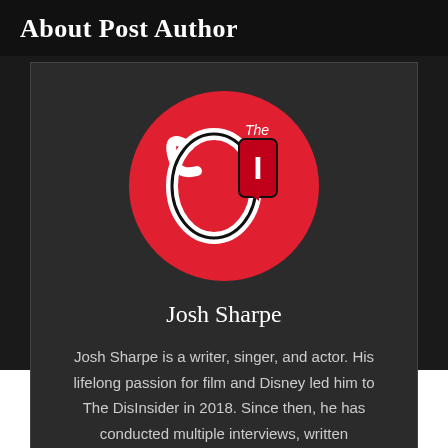About Post Author
[Figure (logo): The DisInsider logo: a red circle containing the Disney D logo combined with a red speech bubble with the letter I, and 'The' written in small text above]
Josh Sharpe
Josh Sharpe is a writer, singer, and actor. His lifelong passion for film and Disney led him to The DisInsider in 2018. Since then, he has conducted multiple interviews, written...